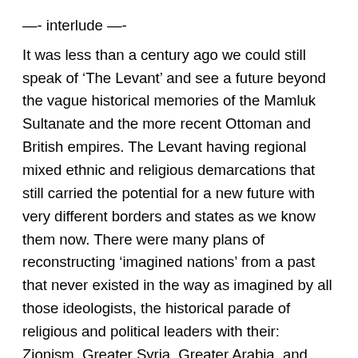—- interlude —-
It was less than a century ago we could still speak of 'The Levant' and see a future beyond the vague historical memories of the Mamluk Sultanate and the more recent Ottoman and British empires. The Levant having regional mixed ethnic and religious demarcations that still carried the potential for a new future with very different borders and states as we know them now. There were many plans of reconstructing 'imagined nations' from a past that never existed in the way as imagined by all those ideologists, the historical parade of religious and political leaders with their: Zionism, Greater Syria, Greater Arabia, and similar bordering visions of unity and hegemony like Pan-Arabism and Pan-Turkism, or the more eccentric ideas of Pan-Islamism, the ill-would be